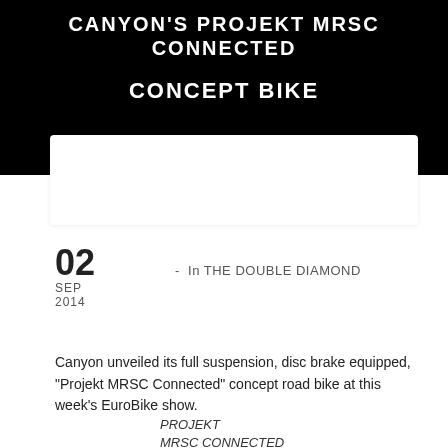CANYON'S PROJEKT MRSC CONNECTED CONCEPT BIKE
02 SEP 2014  -  In THE DOUBLE DIAMOND
Canyon unveiled its full suspension, disc brake equipped, "Projekt MRSC Connected" concept road bike at this week's EuroBike show.
PROJEKT MRSC CONNECTED